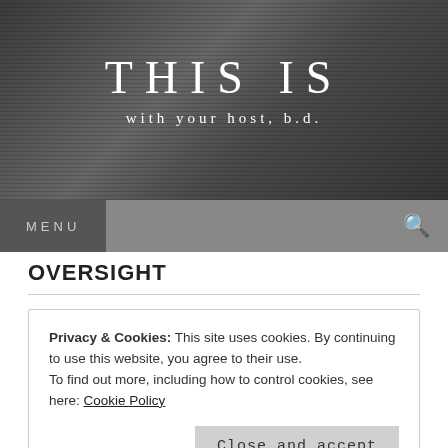[Figure (illustration): Dark grayscale banner image with abstract mechanical/artistic background. Text overlay reads 'THIS IS' in large spaced serif font, and below it 'with your host, b.d.' in smaller spaced serif font.]
MENU
OVERSIGHT
Privacy & Cookies: This site uses cookies. By continuing to use this website, you agree to their use.
To find out more, including how to control cookies, see here: Cookie Policy
Close and accept